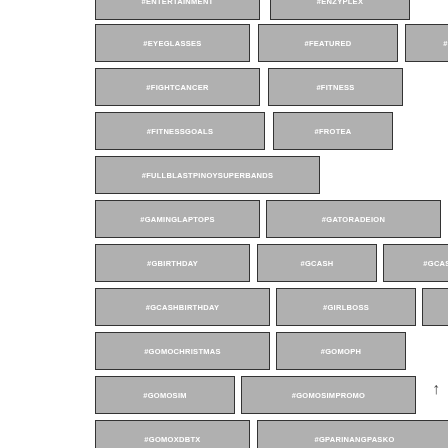#ENTERTAINMENT
#ENZYPLEX
#EYEGLASSES
#FEATURED
#FIGHT
#FIGHTCANCER
#FITNESS
#FITNESSGOALS
#FROTEA
#FULLBLASTPINOYSUPERBANDS
#GAMINGLAPTOPS
#GATORADEION
#GBIRTHDAY
#GCASH
#GCASHAPP
#GCASHBIRTHDAY
#GIRLBOSS
#GOMO
#GOMOCHRISTMAS
#GOMOPH
#GOMOSIM
#GOMOSIMPROMO
#GOMOXDBTX
#GPARINANGPASKO
#GT2PRO